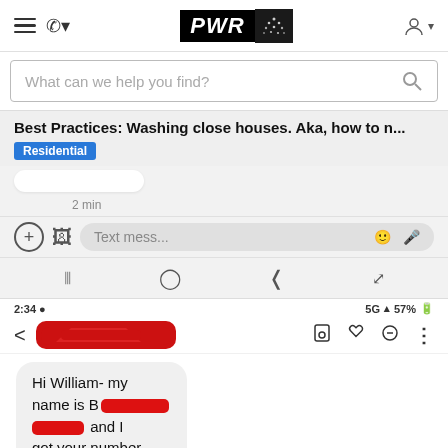PWR [logo] navigation bar with hamburger menu, phone icon, and user icon
What can we help you find?
Best Practices: Washing close houses. Aka, how to n...
Residential
2 min
Text mess...
2:34  5G 57%
Hi William- my name is B[redacted] and I got your number from Je[redacted]
19/36